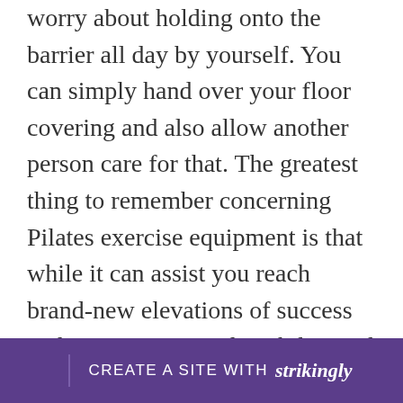worry about holding onto the barrier all day by yourself. You can simply hand over your floor covering and also allow another person care for that. The greatest thing to remember concerning Pilates exercise equipment is that while it can assist you reach brand-new elevations of success and improve your adaptability and also stance, it can never change an excellent individual trainer. While an excellent Pilates exercise ball or floor covering will certainly help you enhance and also tone your muscle mass, a great trainer will ensure that you are not only enhancing your muscles, but the muscles
[Figure (other): Purple banner at the bottom of the page reading 'CREATE A SITE WITH strikingly']